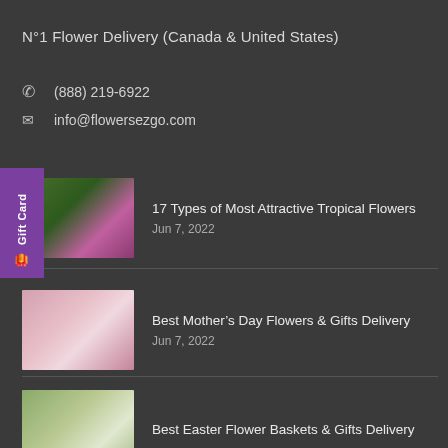N°1 Flower Delivery (Canada & United States)
(888) 219-6922
info@flowersezgo.com
Gift Card
17 Types of Most Attractive Tropical Flowers
Jun 7, 2022
[Figure (photo): Pink orchid flower with tropical green background]
Best Mother's Day Flowers & Gifts Delivery
Jun 7, 2022
[Figure (photo): Mother and child with flowers]
Best Easter Flower Baskets & Gifts Delivery
[Figure (photo): Easter flowers arrangement]